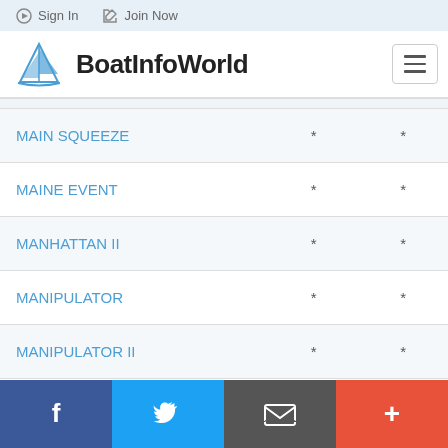Sign In  Join Now
[Figure (logo): BoatInfoWorld logo with sailboat icon]
| Boat Name |  |  |
| --- | --- | --- |
| MAIN SQUEEZE | * | * |
| MAINE EVENT | * | * |
| MANHATTAN II | * | * |
| MANIPULATOR | * | * |
| MANIPULATOR II | * | * |
| MANITOUANA | * | * |
| MAR DE VIVA | * | * |
| MARIAH | * | * |
Facebook  Twitter  Email  Plus